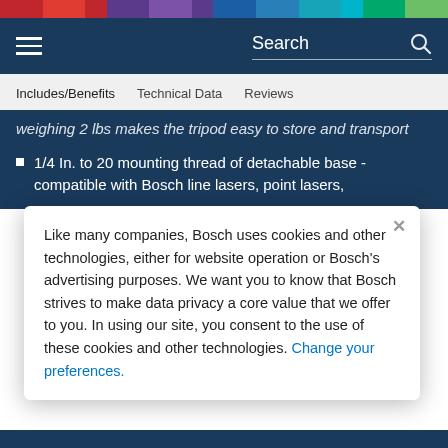Color bar navigation header
Search
Includes/Benefits   Technical Data   Reviews
weighing 2 lbs makes the tripod easy to store and transport
1/4 In. to 20 mounting thread of detachable base - compatible with Bosch line lasers, point lasers,
Like many companies, Bosch uses cookies and other technologies, either for website operation or Bosch’s advertising purposes. We want you to know that Bosch strives to make data privacy a core value that we offer to you. In using our site, you consent to the use of these cookies and other technologies. Change your preferences.